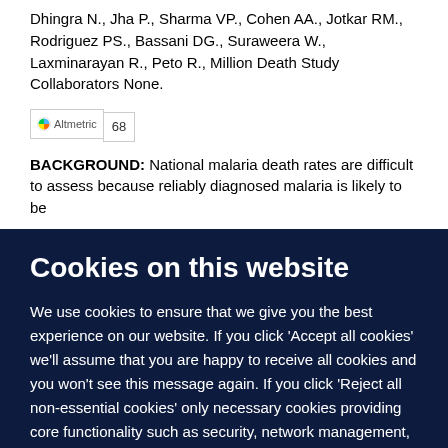Dhingra N., Jha P., Sharma VP., Cohen AA., Jotkar RM., Rodriguez PS., Bassani DG., Suraweera W., Laxminarayan R., Peto R., Million Death Study Collaborators None.
[Figure (other): Altmetric badge showing score of 68]
BACKGROUND: National malaria death rates are difficult to assess because reliably diagnosed malaria is likely to be
Cookies on this website
We use cookies to ensure that we give you the best experience on our website. If you click 'Accept all cookies' we'll assume that you are happy to receive all cookies and you won't see this message again. If you click 'Reject all non-essential cookies' only necessary cookies providing core functionality such as security, network management, and accessibility will be enabled. Click 'Find out more' for information on how to change your cookie settings.